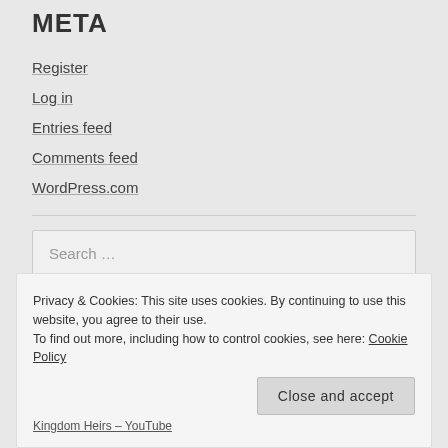META
Register
Log in
Entries feed
Comments feed
WordPress.com
Search …
Privacy & Cookies: This site uses cookies. By continuing to use this website, you agree to their use.
To find out more, including how to control cookies, see here: Cookie Policy
Close and accept
Kingdom Heirs – YouTube